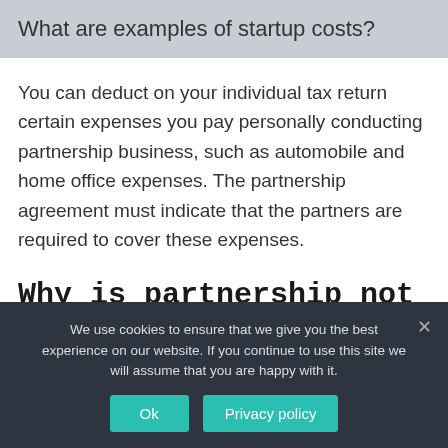What are examples of startup costs?
You can deduct on your individual tax return certain expenses you pay personally conducting partnership business, such as automobile and home office expenses. The partnership agreement must indicate that the partners are required to cover these expenses.
Why is partnership not taxed?
We use cookies to ensure that we give you the best experience on our website. If you continue to use this site we will assume that you are happy with it.